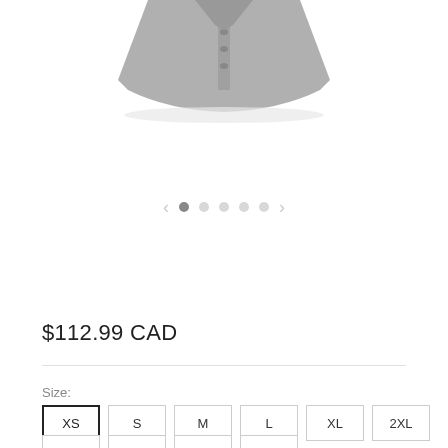[Figure (photo): Cropped product photo of a grey denim/fabric garment shown from behind, partially visible at top of page]
< • ○ ○ ○ ○ >
$112.99 CAD
Size:
XS S M L XL 2XL
3XL  4XL  5XL  6XL